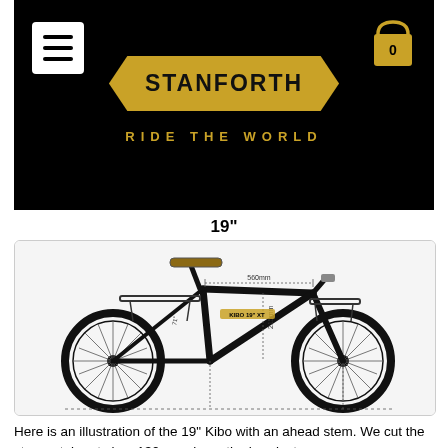[Figure (logo): Stanforth Bikes logo on black background with hamburger menu icon on left, gold diamond-shaped badge with STANFORTH text, shopping cart icon on right, tagline RIDE THE WORLD in gold below]
19"
[Figure (engineering-diagram): Technical illustration of a 19 inch Kibo bicycle with ahead stem, showing frame geometry measurements including 560mm top tube length, 215mm measurement, and other dimensional annotations. Bike shown in black with front and rear racks.]
Here is an illustration of the 19" Kibo with an ahead stem. We cut the steerer tube at circa 130mm above the headset